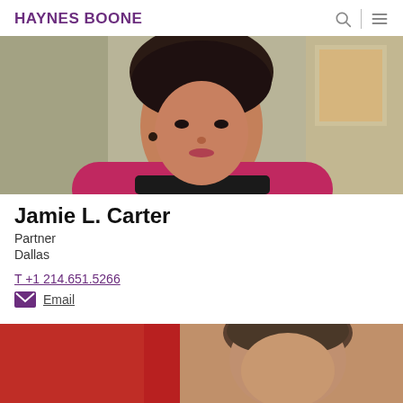HAYNES BOONE
[Figure (photo): Headshot photo of Jamie L. Carter, a woman with dark hair wearing a pink/magenta top, photographed against a neutral background with artwork visible in the background.]
Jamie L. Carter
Partner
Dallas
T +1 214.651.5266
Email
[Figure (photo): Partial headshot of a man with brown/grey hair, photographed against a red and brown background. Only the top portion of his head is visible.]